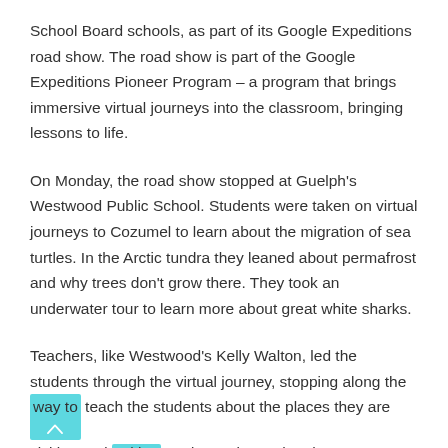School Board schools, as part of its Google Expeditions road show. The road show is part of the Google Expeditions Pioneer Program – a program that brings immersive virtual journeys into the classroom, bringing lessons to life.
On Monday, the road show stopped at Guelph's Westwood Public School. Students were taken on virtual journeys to Cozumel to learn about the migration of sea turtles. In the Arctic tundra they leaned about permafrost and why trees don't grow there. They took an underwater tour to learn more about great white sharks.
Teachers, like Westwood's Kelly Walton, led the students through the virtual journey, stopping along the way to teach the students about the places they are visiting and asking students about what they are seeing.